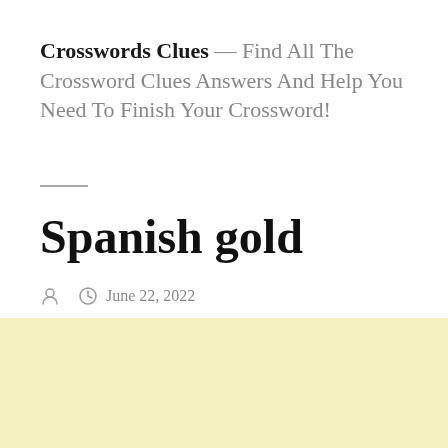Crosswords Clues — Find All The Crossword Clues Answers And Help You Need To Finish Your Crossword!
Spanish gold
June 22, 2022